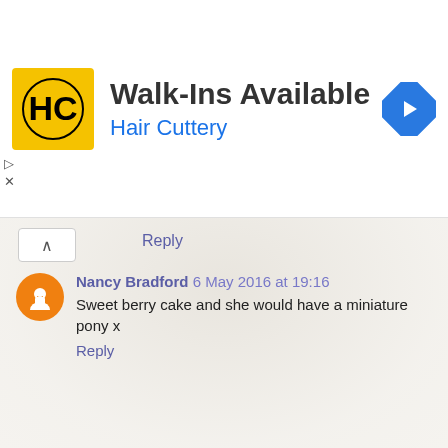[Figure (other): Hair Cuttery advertisement banner with HC logo, text 'Walk-Ins Available' and 'Hair Cuttery', and a blue navigation arrow icon]
Reply
Nancy Bradford 6 May 2016 at 19:16
Sweet berry cake and she would have a miniature pony x
Reply
Unknown 6 May 2016 at 19:23
Maisy Daisy :) A Pet Cat :)
Reply
Jules Eley 6 May 2016 at 20:04
I would call mine Unicorn sparkles like a dream with a